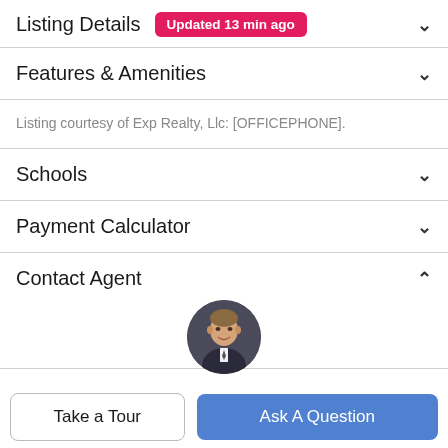Listing Details Updated 13 min ago
Features & Amenities
Listing courtesy of Exp Realty, Llc: [OFFICEPHONE].
Schools
Payment Calculator
Contact Agent
[Figure (photo): Circular headshot photo of a man in a suit against a dark background]
Take a Tour
Ask A Question